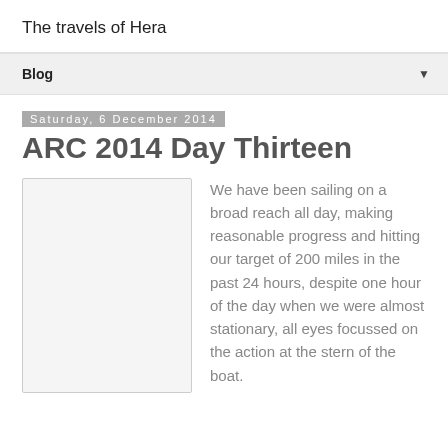The travels of Hera
Blog
Saturday, 6 December 2014
ARC 2014 Day Thirteen
[Figure (photo): Placeholder image box, light gray background with border]
We have been sailing on a broad reach all day, making reasonable progress and hitting our target of 200 miles in the past 24 hours, despite one hour of the day when we were almost stationary, all eyes focussed on the action at the stern of the boat.